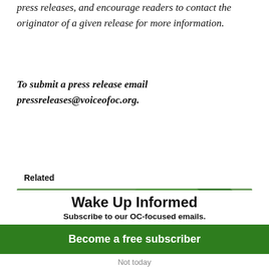press releases, and encourage readers to contact the originator of a given release for more information.
To submit a press release email pressreleases@voiceofoc.org.
Related
[Figure (photo): A young woman smiling next to a decorated animal (cow/bull) with an OC Fair ribbon, outdoors with trees in background.]
Wake Up Informed
Subscribe to our OC-focused emails.
Become a free subscriber
Not today